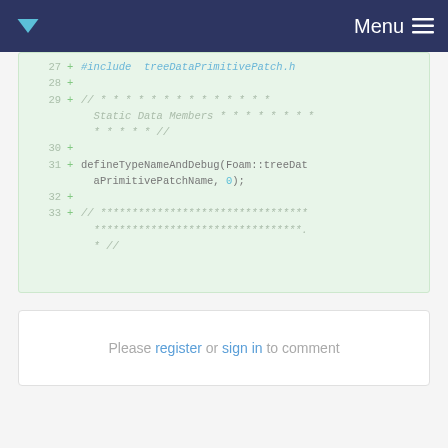Menu
[Figure (screenshot): Code diff view showing lines 27-33 of a C++ source file with added lines marked with + in a green-tinted background. Content includes #include treePatchPrimitivePatch.h, static data members comment block, defineTypeNameAndDebug(Foam::treeDataPrimitivePatchName, 0); and a comment separator line.]
Please register or sign in to comment